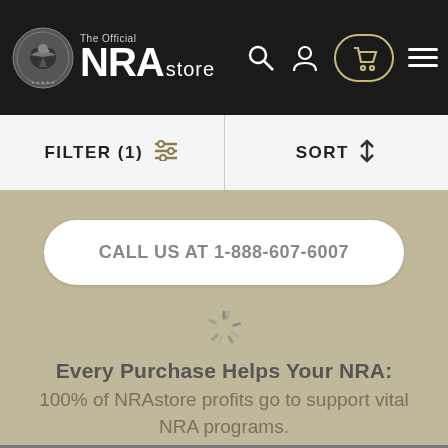[Figure (logo): NRA Store official logo with eagle emblem and 'The Official NRA store' text in navbar]
FILTER (1)  SORT
CALL US AT 1-888-607-6007
Every Purchase Helps Your NRA:
100% of NRAstore profits go to support vital NRA programs.
DEPARTMENTS
Sportswear
IN THE SPOTLIGHT
New Arrivals